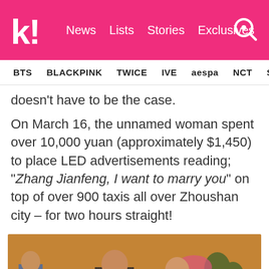k! News Lists Stories Exclusives
BTS BLACKPINK TWICE IVE aespa NCT SEVE
doesn't have to be the case.
On March 16, the unnamed woman spent over 10,000 yuan (approximately $1,450) to place LED advertisements reading; “Zhang Jianfeng, I want to marry you” on top of over 900 taxis all over Zhoushan city – for two hours straight!
[Figure (photo): A woman in a light blue jacket appears to be talking to or proposing to a man in a dark leather jacket outdoors, with trees and a pink decoration visible in the background. A person with a camera is visible on the left.]